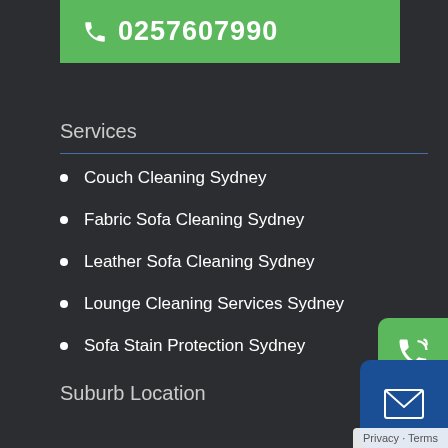0257607990
Services
Couch Cleaning Sydney
Fabric Sofa Cleaning Sydney
Leather Sofa Cleaning Sydney
Lounge Cleaning Services Sydney
Sofa Stain Protection Sydney
Suburb Location
Couch Cleaning Auburn
Couch Cleaning Gladesville
Privacy · Terms